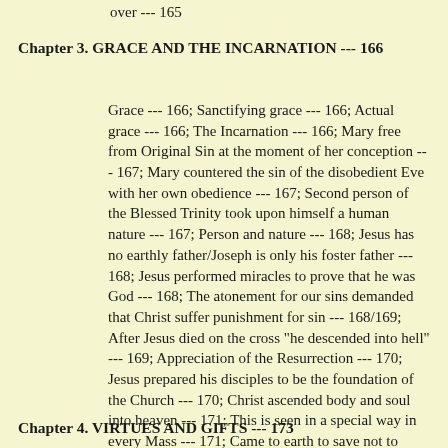over --- 165
Chapter 3. GRACE AND THE INCARNATION --- 166
Grace --- 166; Sanctifying grace --- 166; Actual grace --- 166; The Incarnation --- 166; Mary free from Original Sin at the moment of her conception --- 167; Mary countered the sin of the disobedient Eve with her own obedience --- 167; Second person of the Blessed Trinity took upon himself a human nature --- 167; Person and nature --- 168; Jesus has no earthly father/Joseph is only his foster father --- 168; Jesus performed miracles to prove that he was God --- 168; The atonement for our sins demanded that Christ suffer punishment for sin --- 168/169; After Jesus died on the cross "he descended into hell" --- 169; Appreciation of the Resurrection --- 170; Jesus prepared his disciples to be the foundation of the Church --- 170; Christ ascended body and soul into heaven --- 171; This is seen in a special way in every Mass --- 171; Came to earth to save not to condemn us --- 171; Thinking it over --- 172
Chapter 4. VIRTUES AND GIFTS --- 173